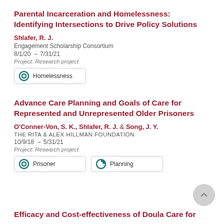Parental Incarceration and Homelessness: Identifying Intersections to Drive Policy Solutions
Shlafer, R. J.
Engagement Scholarship Consortium
8/1/20 → 7/31/21
Project: Research project
Homelessness
Advance Care Planning and Goals of Care for Represented and Unrepresented Older Prisoners
O'Conner-Von, S. K., Shlafer, R. J. & Song, J. Y.
THE RITA & ALEX HILLMAN FOUNDATION
10/9/18 → 5/31/21
Project: Research project
Prisoner
Planning
Efficacy and Cost-effectiveness of Doula Care for